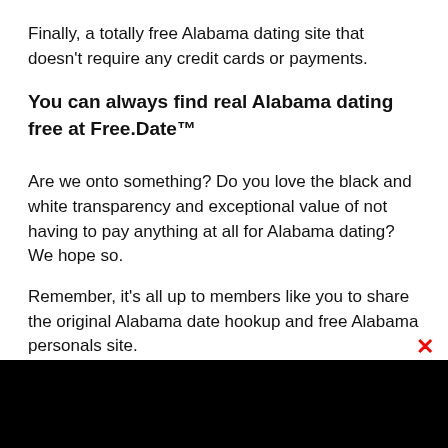Finally, a totally free Alabama dating site that doesn't require any credit cards or payments.
You can always find real Alabama dating free at Free.Date™
Are we onto something? Do you love the black and white transparency and exceptional value of not having to pay anything at all for Alabama dating? We hope so.
Remember, it's all up to members like you to share the original Alabama date hookup and free Alabama personals site.